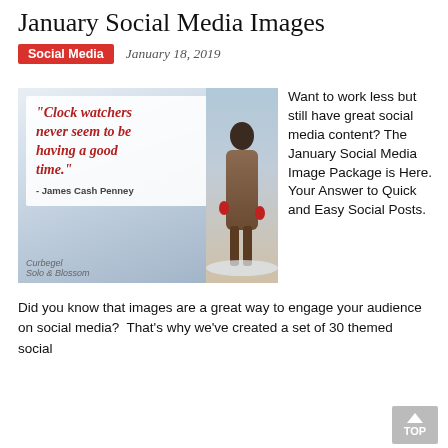January Social Media Images
Social Media   January 18, 2019
[Figure (photo): A winter scene showing a person in a brown coat and red gloves walking away in the snow, alongside a white overlay card with a quote: "Clock watchers never seem to be having a good time." - James Cash Penney]
Want to work less but still have great social media content? The January Social Media Image Package is Here. Your Answer to Quick and Easy Social Posts.
Did you know that images are a great way to engage your audience on social media?  That's why we've created a set of 30 themed social